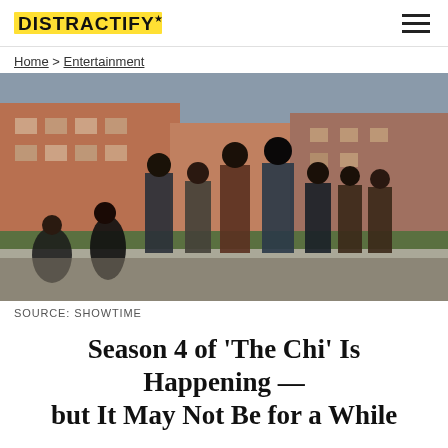DISTRACTIFY
Home > Entertainment
[Figure (photo): Cast photo of the TV show 'The Chi' — a group of about eleven people standing and sitting on a sidewalk in front of a brick apartment building. They are posed looking at the camera in casual/stylish clothing.]
SOURCE: SHOWTIME
Season 4 of 'The Chi' Is Happening — but It May Not Be for a While